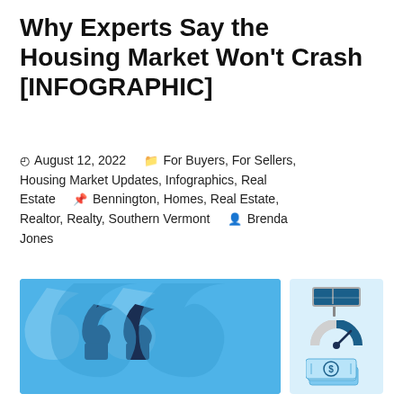Why Experts Say the Housing Market Won't Crash [INFOGRAPHIC]
August 12, 2022   For Buyers, For Sellers, Housing Market Updates, Infographics, Real Estate   Bennington, Homes, Real Estate, Realtor, Realty, Southern Vermont   Brenda Jones
[Figure (infographic): Infographic with large quotation marks on a blue background on the left, and three icons on a light blue background on the right: a real estate sign, a gauge/meter, and a stack of dollar bills.]